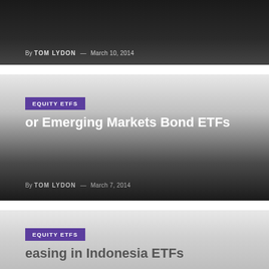By TOM LYDON — March 10, 2014
EQUITY ETFS
…or Emerging Markets Bond ETFs
By TOM LYDON — March 7, 2014
EQUITY ETFS
…easing in Indonesia ETFs